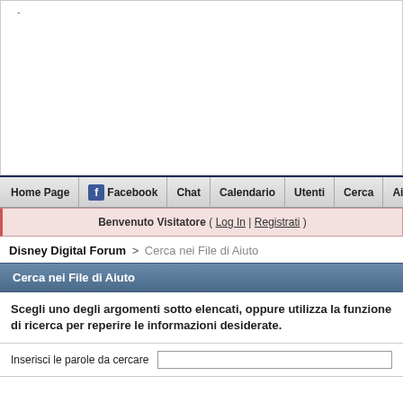[Figure (screenshot): White blank area at top of webpage, likely an advertisement or banner area that failed to load, with a small dash character in the upper left.]
Home Page | Facebook | Chat | Calendario | Utenti | Cerca | Aiuto
Benvenuto Visitatore ( Log In | Registrati )
Disney Digital Forum > Cerca nei File di Aiuto
Cerca nei File di Aiuto
Scegli uno degli argomenti sotto elencati, oppure utilizza la funzione di ricerca per reperire le informazioni desiderate.
Inserisci le parole da cercare